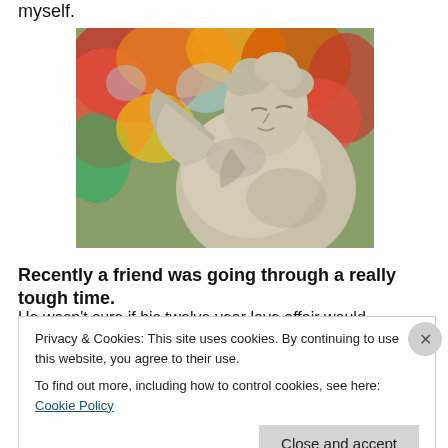myself.
[Figure (photo): A stone angel statue with wings, head bowed downward, photographed against a blurred background of colorful autumn foliage in red, orange, yellow and green.]
Recently a friend was going through a really tough time.
He wasn't sure if his twelve year love affair would
Privacy & Cookies: This site uses cookies. By continuing to use this website, you agree to their use.
To find out more, including how to control cookies, see here: Cookie Policy
Close and accept